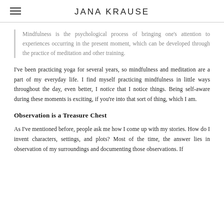JANA KRAUSE
Mindfulness is the psychological process of bringing one's attention to experiences occurring in the present moment, which can be developed through the practice of meditation and other training.
I've been practicing yoga for several years, so mindfulness and meditation are a part of my everyday life. I find myself practicing mindfulness in little ways throughout the day, even better, I notice that I notice things. Being self-aware during these moments is exciting, if you're into that sort of thing, which I am.
Observation is a Treasure Chest
As I've mentioned before, people ask me how I come up with my stories. How do I invent characters, settings, and plots? Most of the time, the answer lies in observation of my surroundings and documenting those observations. If